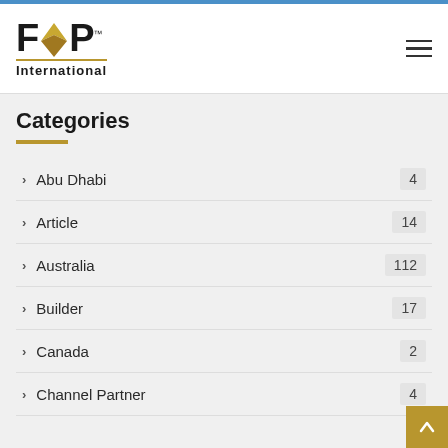[Figure (logo): FBP International logo with gold arrow and underline]
Categories
Abu Dhabi 4
Article 14
Australia 112
Builder 17
Canada 2
Channel Partner 4